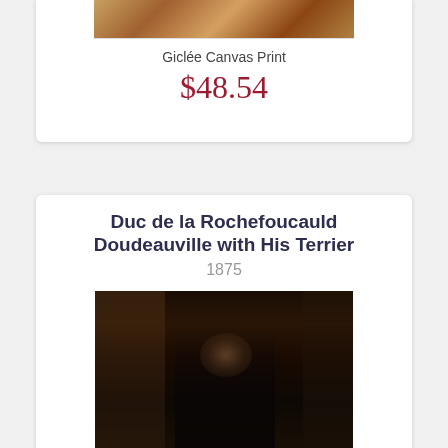[Figure (photo): Cropped top portion of a painting showing warm brown and reddish tones, partial view at top of page]
Giclée Canvas Print
$48.54
Duc de la Rochefoucauld Doudeauville with His Terrier
1875
[Figure (photo): Oil painting from 1875 depicting the Duc de la Rochefoucauld Doudeauville with his terrier, showing a man in dark formal attire standing in an ornate interior room with paintings on the wall, dark atmospheric tones]